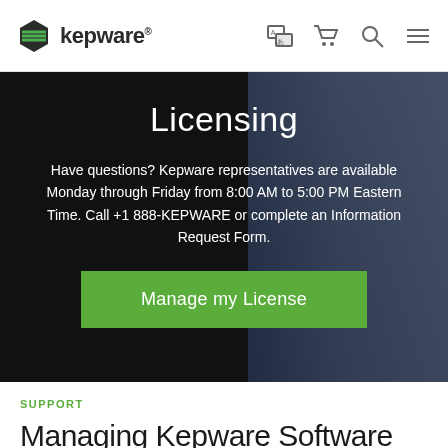kepware® [nav icons: language, cart, search, menu]
Licensing
Have questions? Kepware representatives are available Monday through Friday from 8:00 AM to 5:00 PM Eastern Time. Call +1 888-KEPWARE or complete an Information Request Form.
[Figure (other): Green button: Manage my License]
SUPPORT
Managing Kepware Software Licensing